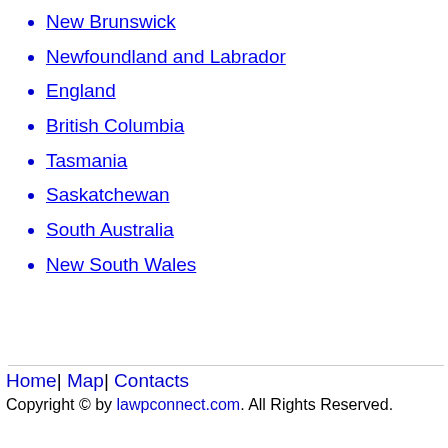New Brunswick
Newfoundland and Labrador
England
British Columbia
Tasmania
Saskatchewan
South Australia
New South Wales
Home| Map| Contacts
Copyright © by lawpconnect.com. All Rights Reserved.